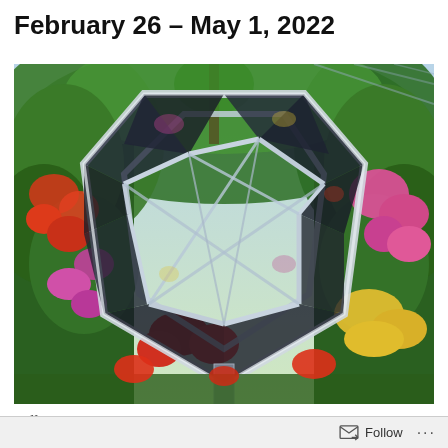February 26 – May 1, 2022
[Figure (photo): A large polyhedral mirrored sculpture installed in a greenhouse full of colorful orchids and tropical plants. The faceted mirror structure reflects the surrounding flowers. Part of NYBG's orchid show.]
Jeff Leatham's Kaleidoscope, NYBG's 19th Annual Orchid
Follow